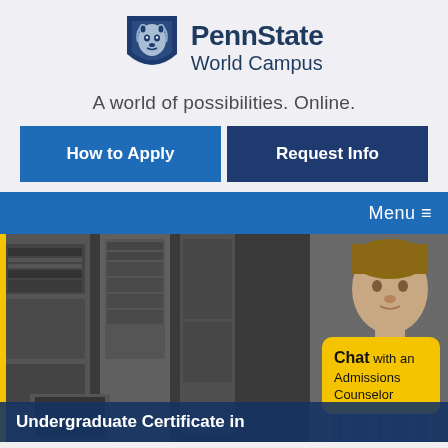[Figure (logo): Penn State Nittany Lion shield logo in navy blue and light blue]
PennState World Campus
A world of possibilities. Online.
How to Apply
Request Info
Menu ≡
[Figure (photo): Young male student smiling in front of server rack equipment in a data center]
Chat with an Admissions Counselor
Undergraduate Certificate in